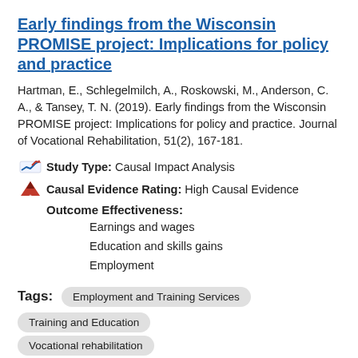Early findings from the Wisconsin PROMISE project: Implications for policy and practice
Hartman, E., Schlegelmilch, A., Roskowski, M., Anderson, C. A., & Tansey, T. N. (2019). Early findings from the Wisconsin PROMISE project: Implications for policy and practice. Journal of Vocational Rehabilitation, 51(2), 167-181.
Study Type: Causal Impact Analysis
Causal Evidence Rating: High Causal Evidence
Outcome Effectiveness:
Earnings and wages
Education and skills gains
Employment
Tags: Employment and Training Services | Training and Education | Vocational rehabilitation